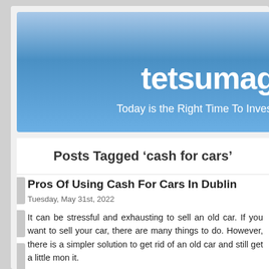tetsumag... Today is the Right Time To Invest...
Posts Tagged ‘cash for cars’
Pros Of Using Cash For Cars In Dublin
Tuesday, May 31st, 2022
It can be stressful and exhausting to sell an old car. If you want to sell your car, there are many things to do. However, there is a simpler solution to get rid of an old car and still get a little mo... it.